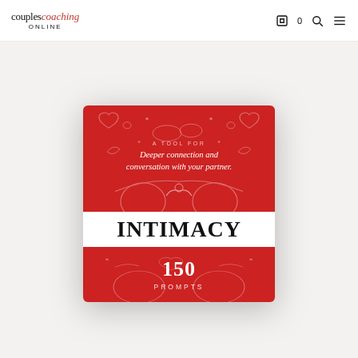couples coaching ONLINE
[Figure (photo): Product photo of 'Intimacy 150 Prompts' card deck box. Red box with white line illustrations of hearts, flowers, and speech bubbles. Top section reads 'A TOOL FOR Deeper connection and conversation with your partner.' Middle white band reads 'INTIMACY' in large bold black text. Bottom red section reads '150 PROMPTS' in white text.]